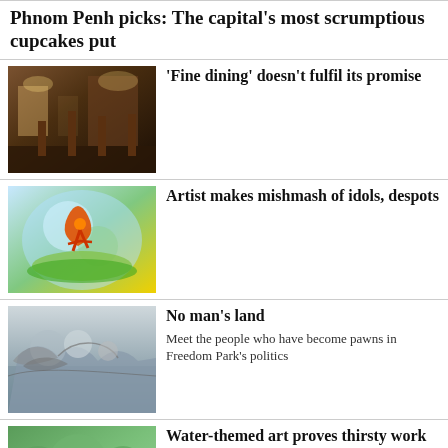Phnom Penh picks: The capital's most scrumptious cupcakes put
'Fine dining' doesn't fulfil its promise
[Figure (photo): Interior of a restaurant with tables, chairs, and bar area in warm dim lighting]
Artist makes mishmash of idols, despots
[Figure (photo): Colorful artwork with orange figure on blue and green abstract background]
No man's land
Meet the people who have become pawns in Freedom Park's politics
[Figure (photo): People near barbed wire fence, outdoor scene]
Water-themed art proves thirsty work
[Figure (photo): People outdoors near trees with green foliage]